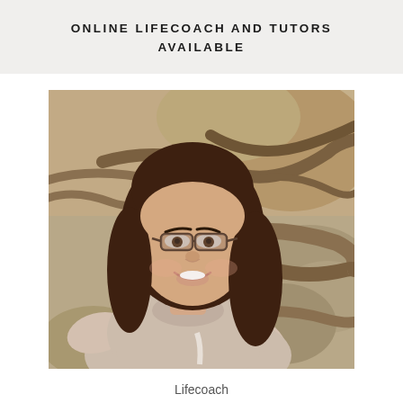ONLINE LIFECOACH AND TUTORS AVAILABLE
[Figure (photo): A woman with long dark hair and glasses, smiling, seated outdoors in a rocky area with driftwood/tree roots in the background. She is wearing a light pink top and a black choker necklace.]
Lifecoach